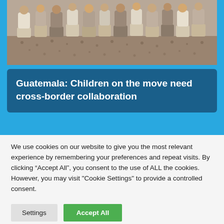[Figure (photo): Group of people sitting in a row outdoors, photographed from below waist level, with a ground covered in dry leaves or dirt visible in the lower portion of the image.]
Guatemala: Children on the move need cross-border collaboration
We use cookies on our website to give you the most relevant experience by remembering your preferences and repeat visits. By clicking “Accept All”, you consent to the use of ALL the cookies. However, you may visit "Cookie Settings" to provide a controlled consent.
Settings
Accept All